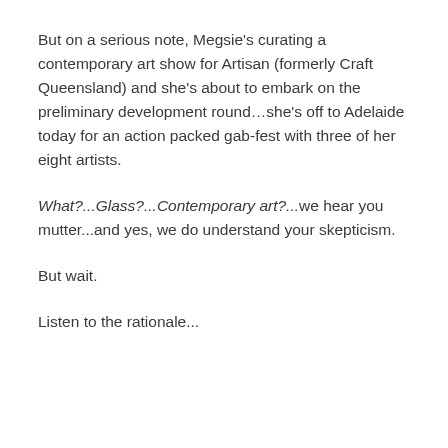But on a serious note, Megsie's curating a contemporary art show for Artisan (formerly Craft Queensland) and she's about to embark on the preliminary development round...she's off to Adelaide today for an action packed gab-fest with three of her eight artists.
What?...Glass?...Contemporary art?...we hear you mutter...and yes, we do understand your skepticism.
But wait.
Listen to the rationale...